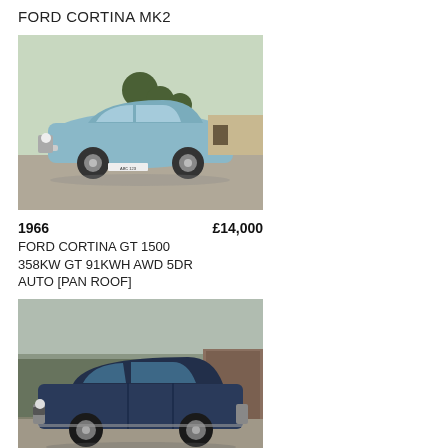FORD CORTINA MK2
[Figure (photo): Light blue Ford Cortina MK2 classic car, front three-quarter view, parked on gravel with trees in background]
1966   £14,000
FORD CORTINA GT 1500 358KW GT 91KWH AWD 5DR AUTO [PAN ROOF]
[Figure (photo): Dark navy blue Ford Cortina MK1 Deluxe classic car, side profile view, parked on pavement with trees and garage in background]
FORD   £22,000
CORTINA MK1 DELUXE
[Figure (photo): Partially visible Ford Cortina car, only top portion visible, bright blue sky background]